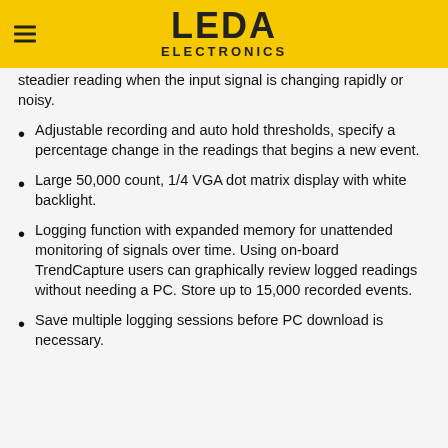LEDA ELECTRONICS
steadier reading when the input signal is changing rapidly or noisy.
Adjustable recording and auto hold thresholds, specify a percentage change in the readings that begins a new event.
Large 50,000 count, 1/4 VGA dot matrix display with white backlight.
Logging function with expanded memory for unattended monitoring of signals over time. Using on-board TrendCapture users can graphically review logged readings without needing a PC. Store up to 15,000 recorded events.
Save multiple logging sessions before PC download is necessary.